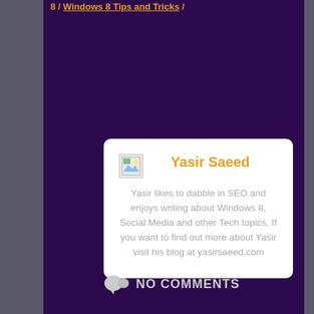8 / Windows 8 Tips and Tricks /
[Figure (other): Author bio card for Yasir Saeed with broken image placeholder and bio text]
Yasir Saeed
Yasir likes to dabble in SEO and enjoys writing about Windows 8, Social Media and other Tech topics. If you want to find out more about Yasir visit his blog at yasirsaeed.com
NO COMMENTS